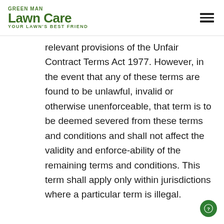Green Man Lawn Care — Your Lawn's Best Friend
relevant provisions of the Unfair Contract Terms Act 1977. However, in the event that any of these terms are found to be unlawful, invalid or otherwise unenforceable, that term is to be deemed severed from these terms and conditions and shall not affect the validity and enforce-ability of the remaining terms and conditions. This term shall apply only within jurisdictions where a particular term is illegal.